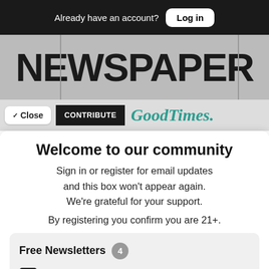Already have an account? Log in
[Figure (screenshot): Newspaper masthead banner showing large bold 'NEWSPAPER' text on grey background with vertical divider lines]
Close  CONTRIBUTE  GoodTimes.
Welcome to our community
Sign in or register for email updates and this box won't appear again. We're grateful for your support.
By registering you confirm you are 21+.
Free Newsletters  4
Good Times Newsletter (weekly) — News stories, arts and dining